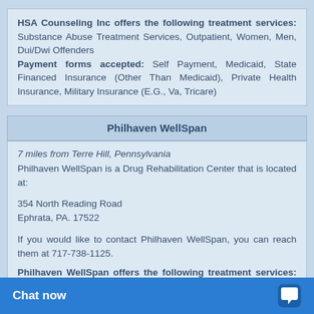HSA Counseling Inc offers the following treatment services: Substance Abuse Treatment Services, Outpatient, Women, Men, Dui/Dwi Offenders
Payment forms accepted: Self Payment, Medicaid, State Financed Insurance (Other Than Medicaid), Private Health Insurance, Military Insurance (E.G., Va, Tricare)
Philhaven WellSpan
7 miles from Terre Hill, Pennsylvania
Philhaven WellSpan is a Drug Rehabilitation Center that is located at:

354 North Reading Road
Ephrata, PA. 17522

If you would like to contact Philhaven WellSpan, you can reach them at 717-738-1125.

Philhaven WellSpan offers the following treatment services: Outpatient, Asl Or Other Assistance For Hearing Impaired
Payment forms accepted: Self Payment, Medicaid, Medicare, State Financed Insurance..., Private Health Insurance...